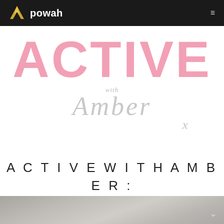powah
[Figure (logo): ACTIVE with Amber x fitness brand logo in pink and grey script]
ACTIVE WITH AMBER : ACTIVE ABS PLAN
[Figure (photo): Bottom strip showing partial photo of a person, grey/beige toned]